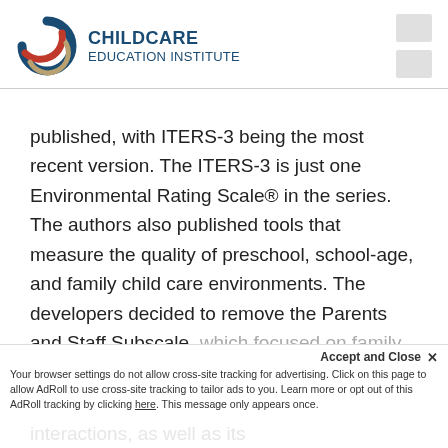[Figure (logo): ChildCare Education Institute logo with circular swirl icon in red, blue, and tan, and text 'CHILDCARE EDUCATION INSTITUTE' in dark blue]
published, with ITERS-3 being the most recent version. The ITERS-3 is just one Environmental Rating Scale® in the series. The authors also published tools that measure the quality of preschool, school-age, and family child care environments. The developers decided to remove the Parents and Staff Subscale, which focused on family staff interactions, as well as its
Accept and Close ×
Your browser settings do not allow cross-site tracking for advertising. Click on this page to allow AdRoll to use cross-site tracking to tailor ads to you. Learn more or opt out of this AdRoll tracking by clicking here. This message only appears once.